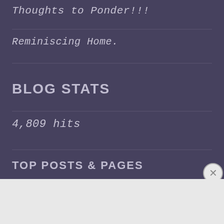Thoughts to Ponder!!!
Reminiscing Home.
BLOG STATS
4,809 hits
TOP POSTS & PAGES
Advertisements
[Figure (other): Advertisement banner: F2 logo with text 'Fewer meetings, more work.']